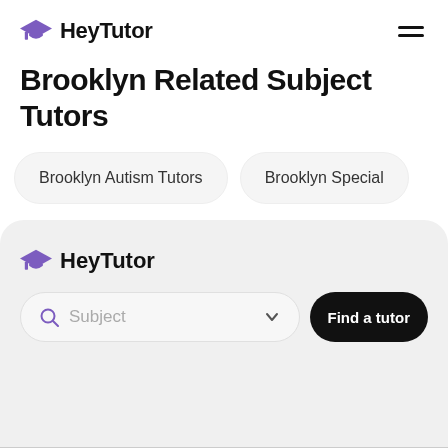HeyTutor
Brooklyn Related Subject Tutors
Brooklyn Autism Tutors
Brooklyn Special
[Figure (logo): HeyTutor logo with purple graduation cap icon and bold text]
Subject
Find a tutor